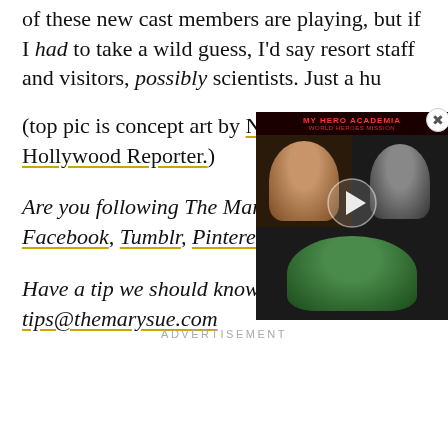of these new cast members are playing, but if I had to take a wild guess, I'd say resort staff and visitors, possibly scientists. Just a hu
(top pic is concept art by Na[...] The Hollywood Reporter.)
[Figure (screenshot): Video overlay showing a My Hero Academia thumbnail with two people in the top panels and one person with green hair in the bottom panel, with a play button overlay.]
Are you following The Mary Sue on Twitter, Facebook, Tumblr, Pinterest, & Google +?
Have a tip we should know? tips@themarysue.com
ADVERTISEMENT